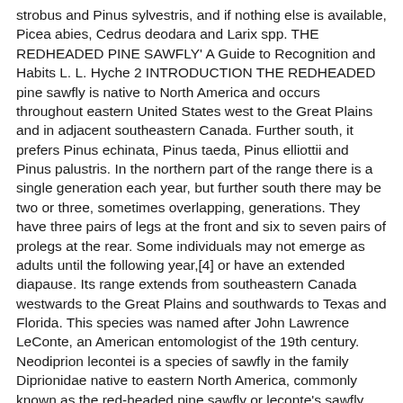strobus and Pinus sylvestris, and if nothing else is available, Picea abies, Cedrus deodara and Larix spp. THE REDHEADED PINE SAWFLY' A Guide to Recognition and Habits L. L. Hyche 2 INTRODUCTION THE REDHEADED pine sawfly is native to North America and occurs throughout eastern United States west to the Great Plains and in adjacent southeastern Canada. Further south, it prefers Pinus echinata, Pinus taeda, Pinus elliottii and Pinus palustris. In the northern part of the range there is a single generation each year, but further south there may be two or three, sometimes overlapping, generations. They have three pairs of legs at the front and six to seven pairs of prolegs at the rear. Some individuals may not emerge as adults until the following year,[4] or have an extended diapause. Its range extends from southeastern Canada westwards to the Great Plains and southwards to Texas and Florida. This species was named after John Lawrence LeConte, an American entomologist of the 19th century. Neodiprion lecontei is a species of sawfly in the family Diprionidae native to eastern North America, commonly known as the red-headed pine sawfly or leconte's sawfly. The redheaded pine sawfly, Neodiprion lecontei (Fitch), is one of numerous sawfly species (including 35 species in the